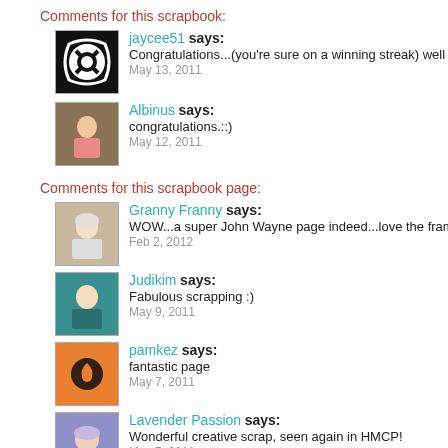Comments for this scrapbook:
jaycee51 says: Congratulations...(you're sure on a winning streak) well done — May 13, 2011
Albinus says: congratulations.::) — May 12, 2011
Comments for this scrapbook page:
Granny Franny says: WOW...a super John Wayne page indeed...love the framing! — Feb 2, 2012
Judikim says: Fabulous scrapping :) — May 9, 2011
pamkez says: fantastic page — May 7, 2011
Lavender Passion says: Wonderful creative scrap, seen again in HMCP! — May 5, 2011
Lindalou b says: gorgeous page x